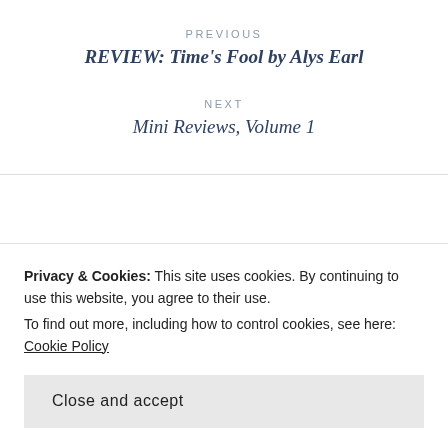PREVIOUS
REVIEW: Time’s Fool by Alys Earl
NEXT
Mini Reviews, Volume 1
21 thoughts on “Two Truths & A Lie
Privacy & Cookies: This site uses cookies. By continuing to use this website, you agree to their use.
To find out more, including how to control cookies, see here: Cookie Policy
Close and accept